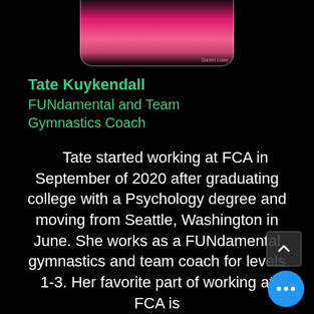[Figure (photo): Photo of Tate Kuykendall in gymnastics attire, pink outfit, dark background. Photo credit: Daniel Lowe.]
Tate Kuykendall
FUNdamental and Team Gymnastics Coach
Tate started working at FCA in September of 2020 after graduating college with a Psychology degree and moving from Seattle, Washington in June. She works as a FUNdamental gymnastics and team coach for levels 1-3. Her favorite part of working at FCA is